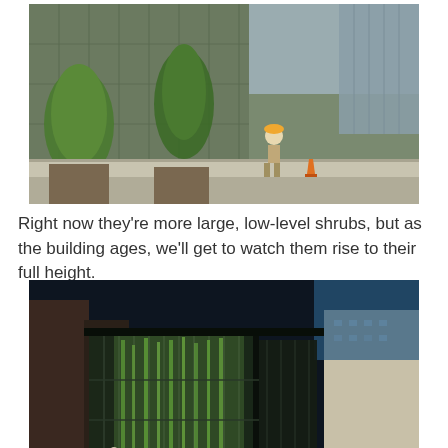[Figure (photo): Outdoor construction scene showing a walkway alongside a large glass and metal building facade, with young trees planted in ground cutouts, a construction worker in a hard hat walking ahead, and urban street elements visible.]
Right now they're more large, low-level shrubs, but as the building ages, we'll get to watch them rise to their full height.
[Figure (photo): Architectural rendering of a modern glass-walled building at night, showing a corner view with tall bamboo or trees visible through the transparent facade, surrounded by urban high-rises and a dark sky.]
A talk by Ronan about his building during the Open House is